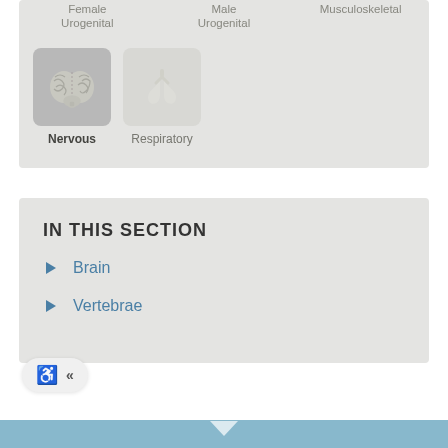[Figure (infographic): Partial view of organ system navigation grid showing Female Urogenital, Male Urogenital, Musculoskeletal labels at top, and two icon boxes below: Nervous system (brain icon, selected/darker) and Respiratory system (lung icon)]
Female Urogenital
Male Urogenital
Musculoskeletal
Nervous
Respiratory
IN THIS SECTION
Brain
Vertebrae